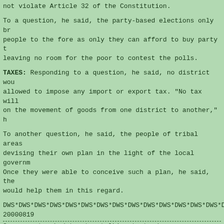not violate Article 32 of the Constitution.
To a question, he said, the party-based elections only br people to the fore as only they can afford to buy party t leaving no room for the poor to contest the polls.
TAXES: Responding to a question, he said, no district wou allowed to impose any import or export tax. "No tax will on the movement of goods from one district to another," h
To another question, he said, the people of tribal areas devising their own plan in the light of the local govern Once they were able to conceive such a plan, he said, the would help them in this regard.
DWS*DWS*DWS*DWS*DWS*DWS*DWS*DWS*DWS*DWS*DWS*DWS*DWS*DWS*D
20000819
Government asked to stop talking to traders
By Ikram Hoti and Faraz Hashmi
ISLAMABAD, Aug 18: The Central Board of Revenue chief has government to immediately stop negotiations with traders related issues.
"Such talks are deemed as weakness of the government and process of tax survey and documentation of the economy", told the corps commanders conference here on Friday.